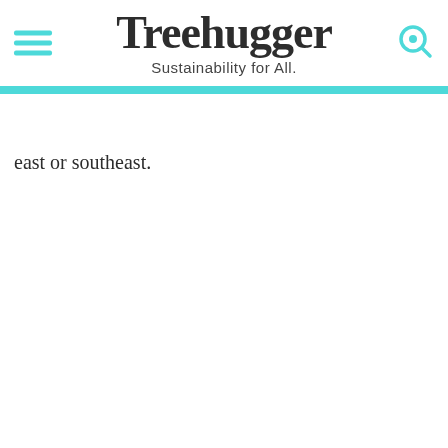Treehugger — Sustainability for All.
east or southeast.